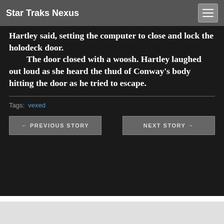Star Traks Nexus
Hartley said, setting the computer to close and lock the holodeck door. The door closed with a woosh. Hartley laughed out loud as she heard the thud of Conway's body hitting the door as he tried to escape.
Tags: vexed
← PREVIOUS STORY
NEXT STORY →